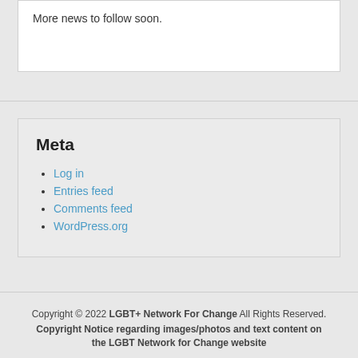More news to follow soon.
Meta
Log in
Entries feed
Comments feed
WordPress.org
Copyright © 2022 LGBT+ Network For Change All Rights Reserved. Copyright Notice regarding images/photos and text content on the LGBT Network for Change website